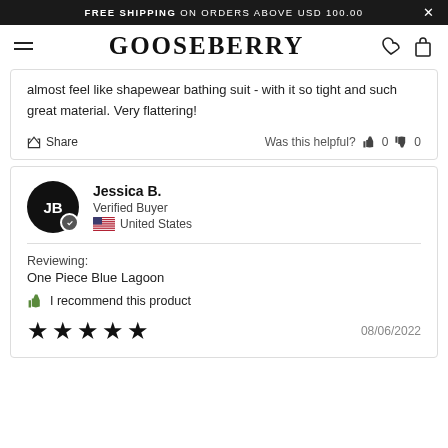FREE SHIPPING ON ORDERS ABOVE USD 100.00
GOOSEBERRY
almost feel like shapewear bathing suit - with it so tight and such great material. Very flattering!
Share   Was this helpful?  👍 0  👎 0
Jessica B.
Verified Buyer
United States
Reviewing:
One Piece Blue Lagoon
I recommend this product
★★★★★   08/06/2022